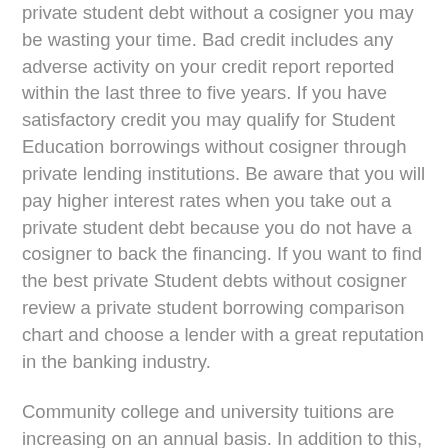private student debt without a cosigner you may be wasting your time. Bad credit includes any adverse activity on your credit report reported within the last three to five years. If you have satisfactory credit you may qualify for Student Education borrowings without cosigner through private lending institutions. Be aware that you will pay higher interest rates when you take out a private student debt because you do not have a cosigner to back the financing. If you want to find the best private Student debts without cosigner review a private student borrowing comparison chart and choose a lender with a great reputation in the banking industry.
Community college and university tuitions are increasing on an annual basis. In addition to this, the cost of books for a full-time student averages between $1000 and $1200 a year. Throw in the cost of living and attending school without help is practically impossible. If you do not have a cosigner, apply for Federal student loans without